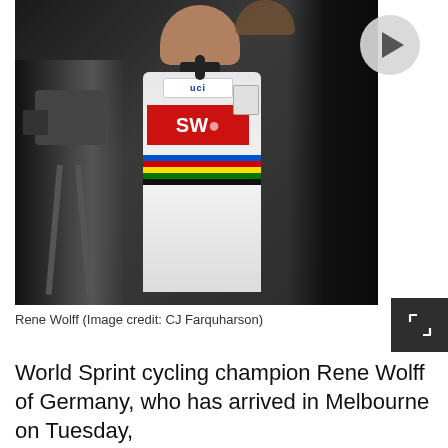[Figure (photo): Photo of Rene Wolff, World Sprint cycling champion, wearing a white UCI world champion jersey with rainbow stripes and a red SWI sponsor logo, standing in front of camera equipment with a person in a dark suit on the right. A play button overlay appears in the top right corner of the image.]
Rene Wolff (Image credit: CJ Farquharson)
World Sprint cycling champion Rene Wolff of Germany, who has arrived in Melbourne on Tuesday,